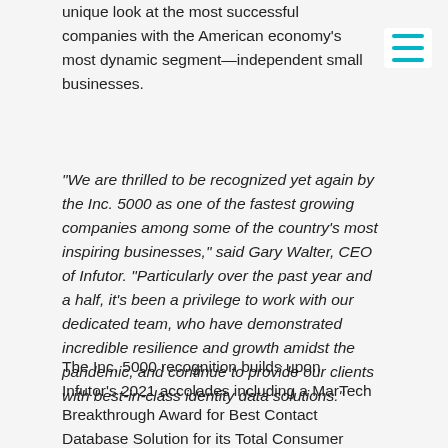unique look at the most successful companies with the American economy's most dynamic segment—independent small businesses.
“We are thrilled to be recognized yet again by the Inc. 5000 as one of the fastest growing companies among some of the country’s most inspiring businesses,” said Gary Walter, CEO of Infutor. “Particularly over the past year and a half, it’s been a privilege to work with our dedicated team, who have demonstrated incredible resilience and growth amidst the pandemic, and continue to provide our clients with best-in-class identity data solutions.”
The Inc. 5000 recognition builds upon Infutor’s 2021 accolades including a MarTech Breakthrough Award for Best Contact Database Solution for its Total Consumer Insights solution and inclusion on the Crain’s Chicago Business Best Places to Work list and the 2021 Best Places to Work by Built in Chicago.